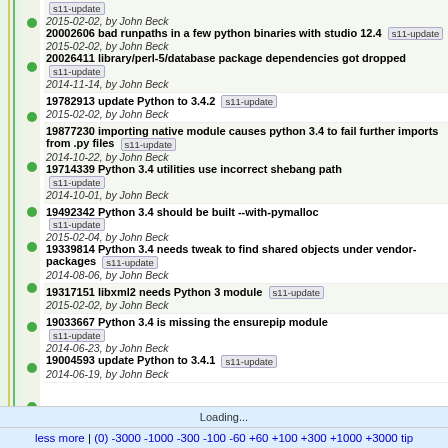s11-update
2015-02-02, by John Beck
20002606 bad runpaths in a few python binaries with studio 12.4 s11-update
2015-02-02, by John Beck
20026411 library/perl-5/database package dependencies got dropped s11-update
2014-11-14, by John Beck
19782913 update Python to 3.4.2 s11-update
2015-02-02, by John Beck
19877230 importing native module causes python 3.4 to fail further imports from .py files s11-update
2014-10-22, by John Beck
19714339 Python 3.4 utilities use incorrect shebang path s11-update
2014-10-01, by John Beck
19492342 Python 3.4 should be built --with-pymalloc s11-update
2015-02-04, by John Beck
19339814 Python 3.4 needs tweak to find shared objects under vendor-packages s11-update
2014-08-06, by John Beck
19317151 libxml2 needs Python 3 module s11-update
2015-02-02, by John Beck
19033667 Python 3.4 is missing the ensurepip module s11-update
2014-06-23, by John Beck
19004593 update Python to 3.4.1 s11-update
2014-06-19, by John Beck
Loading...
less more | (0) -3000 -1000 -300 -100 -60 +60 +100 +300 +1000 +3000 tip